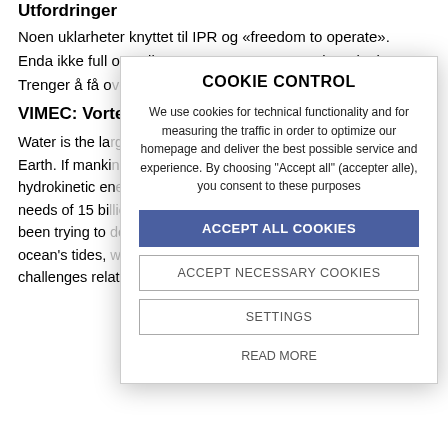Utfordringer
Noen uklarheter knyttet til IPR og «freedom to operate».
Enda ikke full oversikt over CAPEX og OPEX betraktninger
Trenger å få overblikk over andre anvendelsesområder
VIMEC: Vortex Induced Motion Energy Converter
Water is the largest natural medium for energy storage on Earth. If mankind could harness, convert, and control hydrokinetic energy, we could meet the total energy needs of 15 billion people. Since 2011, our group has been trying to develop technologies based on the ocean's tides, waves, and currents. We still face challenges related to low energy output, high load
[Figure (screenshot): Cookie control modal overlay with title 'COOKIE CONTROL', description text about cookie usage, and four buttons: ACCEPT ALL COOKIES (blue), ACCEPT NECESSARY COOKIES, SETTINGS, READ MORE]